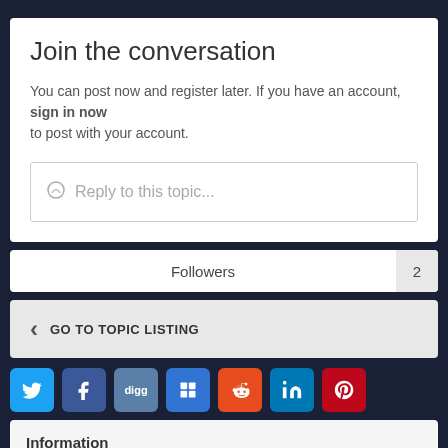Join the conversation
You can post now and register later. If you have an account, sign in now to post with your account.
Reply to this topic...
Followers  2
GO TO TOPIC LISTING
[Figure (infographic): Social sharing buttons: Twitter, Facebook, Digg, Delicious, Reddit, LinkedIn, Pinterest]
Information